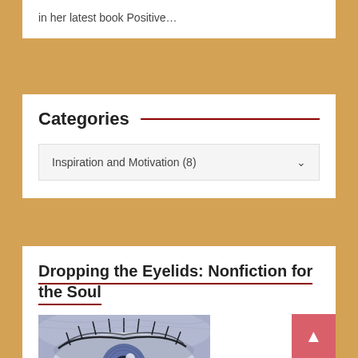in her latest book Positive…
Categories
Inspiration and Motivation  (8)
Dropping the Eyelids: Nonfiction for the Soul
[Figure (photo): Close-up photograph of a human eye with a blue/grey tint, showing detailed eyelashes, iris, and surrounding skin texture]